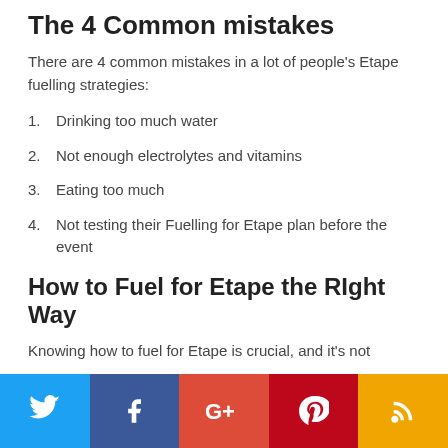The 4 Common mistakes
There are 4 common mistakes in a lot of people's Etape fuelling strategies:
Drinking too much water
Not enough electrolytes and vitamins
Eating too much
Not testing their Fuelling for Etape plan before the event
How to Fuel for Etape the RIght Way
Knowing how to fuel for Etape is crucial, and it's not
[Figure (infographic): Social sharing bar with Twitter, Facebook, Google+, Pinterest, and RSS icons on colored backgrounds]